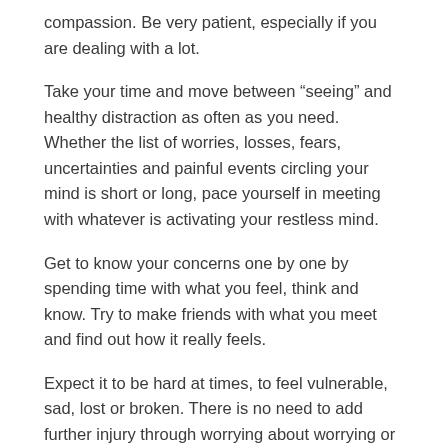compassion. Be very patient, especially if you are dealing with a lot.
Take your time and move between “seeing” and healthy distraction as often as you need. Whether the list of worries, losses, fears, uncertainties and painful events circling your mind is short or long, pace yourself in meeting with whatever is activating your restless mind.
Get to know your concerns one by one by spending time with what you feel, think and know. Try to make friends with what you meet and find out how it really feels.
Expect it to be hard at times, to feel vulnerable, sad, lost or broken. There is no need to add further injury through worrying about worrying or getting more lost. Know that whatever is disconnecting you is in